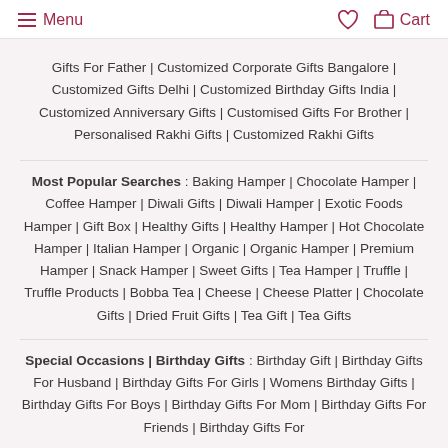Menu | Cart
Gifts For Father | Customized Corporate Gifts Bangalore | Customized Gifts Delhi | Customized Birthday Gifts India | Customized Anniversary Gifts | Customised Gifts For Brother | Personalised Rakhi Gifts | Customized Rakhi Gifts
Most Popular Searches : Baking Hamper | Chocolate Hamper | Coffee Hamper | Diwali Gifts | Diwali Hamper | Exotic Foods Hamper | Gift Box | Healthy Gifts | Healthy Hamper | Hot Chocolate Hamper | Italian Hamper | Organic | Organic Hamper | Premium Hamper | Snack Hamper | Sweet Gifts | Tea Hamper | Truffle | Truffle Products | Bobba Tea | Cheese | Cheese Platter | Chocolate Gifts | Dried Fruit Gifts | Tea Gift | Tea Gifts
Special Occasions | Birthday Gifts : Birthday Gift | Birthday Gifts For Husband | Birthday Gifts For Girls | Womens Birthday Gifts | Birthday Gifts For Boys | Birthday Gifts For Mom | Birthday Gifts For Friends | Birthday Gifts For